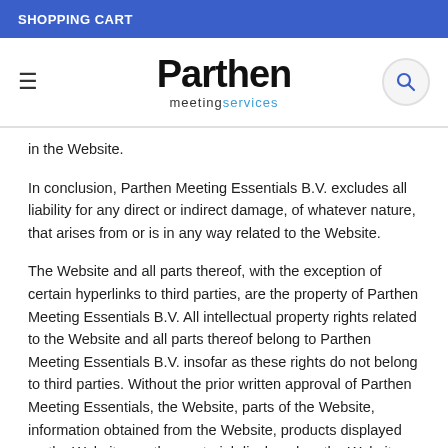SHOPPING CART
[Figure (logo): Parthen meeting services logo with hamburger menu icon on left and search icon on right]
in the Website.
In conclusion, Parthen Meeting Essentials B.V. excludes all liability for any direct or indirect damage, of whatever nature, that arises from or is in any way related to the Website.
The Website and all parts thereof, with the exception of certain hyperlinks to third parties, are the property of Parthen Meeting Essentials B.V. All intellectual property rights related to the Website and all parts thereof belong to Parthen Meeting Essentials B.V. insofar as these rights do not belong to third parties. Without the prior written approval of Parthen Meeting Essentials, the Website, parts of the Website, information obtained from the Website, products displayed on the Website or other material displayed on the Website must not be disclosed, reproduced, stored or offered for sale, in any shape or form.